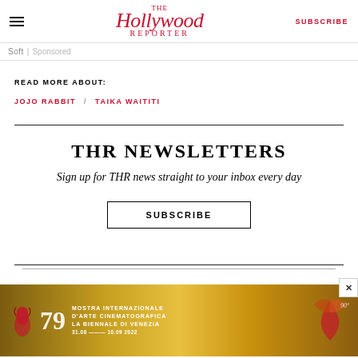The Hollywood Reporter — SUBSCRIBE
Soft | Sponsored
READ MORE ABOUT:
JOJO RABBIT  /   TAIKA WAITITI
THR NEWSLETTERS
Sign up for THR news straight to your inbox every day
SUBSCRIBE
[Figure (other): Mostra Internazionale d'Arte Cinematografica La Biennale di Venezia ad banner with lion logo and 79th edition branding]